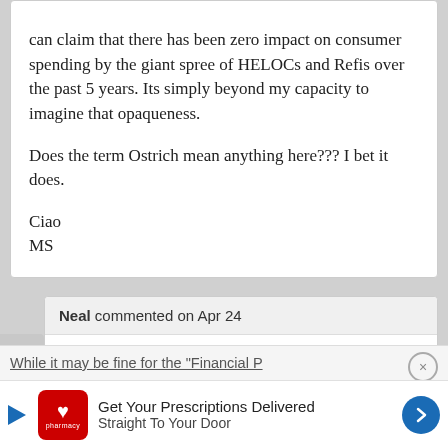can claim that there has been zero impact on consumer spending by the giant spree of HELOCs and Refis over the past 5 years. Its simply beyond my capacity to imagine that opaqueness.

Does the term Ostrich mean anything here??? I bet it does.

Ciao
MS
Neal commented on Apr 24
[Figure (screenshot): Advertisement for CVS Pharmacy: 'Get Your Prescriptions Delivered Straight To Your Door' with CVS logo and navigation arrow]